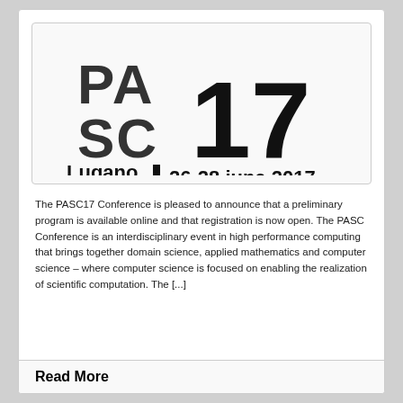[Figure (logo): PASC17 Conference logo with text: PA SC 17, Lugano Switzerland | 26-28 june 2017]
The PASC17 Conference is pleased to announce that a preliminary program is available online and that registration is now open. The PASC Conference is an interdisciplinary event in high performance computing that brings together domain science, applied mathematics and computer science – where computer science is focused on enabling the realization of scientific computation. The [...]
Read More